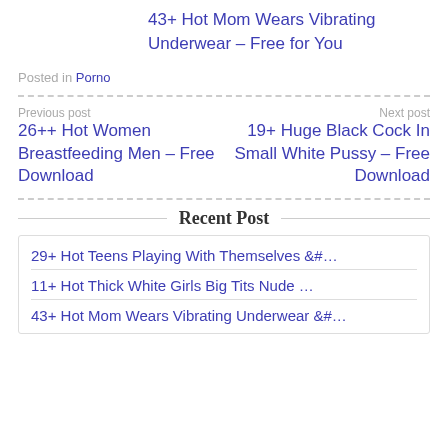43+ Hot Mom Wears Vibrating Underwear – Free for You
Posted in Porno
Previous post
26++ Hot Women Breastfeeding Men – Free Download
Next post
19+ Huge Black Cock In Small White Pussy – Free Download
Recent Post
29+ Hot Teens Playing With Themselves &#…
11+ Hot Thick White Girls Big Tits Nude …
43+ Hot Mom Wears Vibrating Underwear &#…